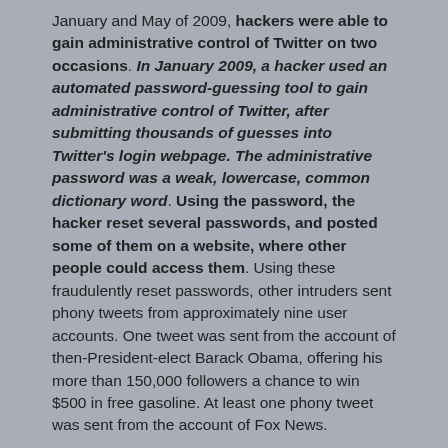January and May of 2009, hackers were able to gain administrative control of Twitter on two occasions. In January 2009, a hacker used an automated password-guessing tool to gain administrative control of Twitter, after submitting thousands of guesses into Twitter's login webpage. The administrative password was a weak, lowercase, common dictionary word. Using the password, the hacker reset several passwords, and posted some of them on a website, where other people could access them. Using these fraudulently reset passwords, other intruders sent phony tweets from approximately nine user accounts. One tweet was sent from the account of then-President-elect Barack Obama, offering his more than 150,000 followers a chance to win $500 in free gasoline. At least one phony tweet was sent from the account of Fox News.
During a second security breach, in April 2009, a hacker was able to guess the administrative